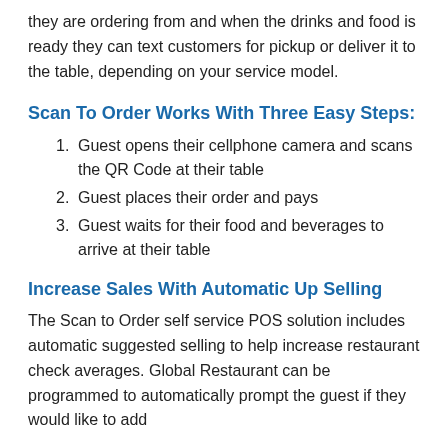they are ordering from and when the drinks and food is ready they can text customers for pickup or deliver it to the table, depending on your service model.
Scan To Order Works With Three Easy Steps:
Guest opens their cellphone camera and scans the QR Code at their table
Guest places their order and pays
Guest waits for their food and beverages to arrive at their table
Increase Sales With Automatic Up Selling
The Scan to Order self service POS solution includes automatic suggested selling to help increase restaurant check averages. Global Restaurant can be programmed to automatically prompt the guest if they would like to add